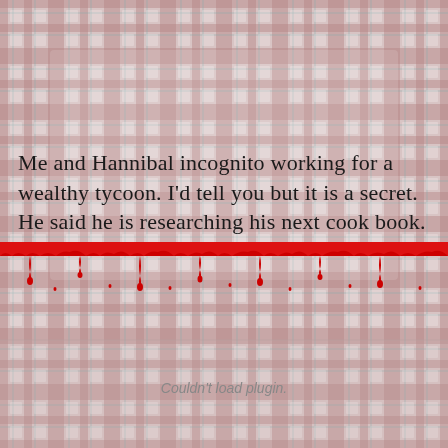[Figure (illustration): Plaid/gingham background pattern in muted pinks, reds, and light teals forming a tablecloth-like grid pattern]
Me and Hannibal incognito working for a wealthy tycoon. I'd tell you but it is a secret. He said he is researching his next cook book.
[Figure (illustration): A dripping blood border/divider — a horizontal red band along the top with jagged drips and droplets falling downward, pixel-art style]
Couldn't load plugin.